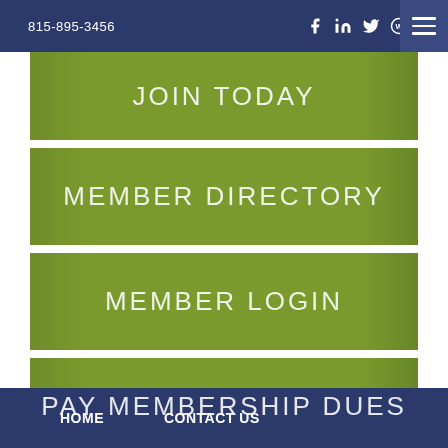815-895-3456  [social icons: Facebook, LinkedIn, Twitter, WordPress, Instagram]
JOIN TODAY
MEMBER DIRECTORY
MEMBER LOGIN
PAY MEMBERSHIP DUES
HOME  CONTACT US